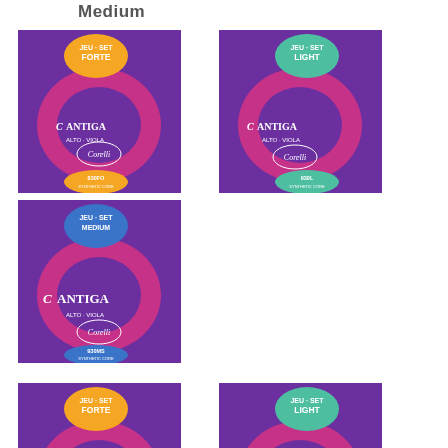Medium
[Figure (photo): Cantiga Alto/Viola Corelli string set product packaging - Forte (orange badge), purple background with pink C logo, reference 830FO]
[Figure (photo): Cantiga Alto/Viola Corelli string set product packaging - Light (teal badge), purple background with pink C logo, reference 830L]
[Figure (photo): Cantiga Alto/Viola Corelli string set product packaging - Medium (blue badge), purple background with pink C logo, reference 830MS]
[Figure (photo): Cantiga Alto/Viola Corelli string set product packaging - Forte (orange badge), purple background, partial view]
[Figure (photo): Cantiga Alto/Viola Corelli string set product packaging - Light (teal badge), purple background, partial view]